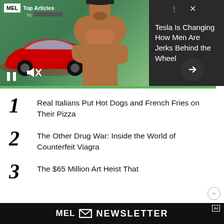[Figure (screenshot): MEL magazine video player showing a shirtless man with crossed arms and a red Tesla car, with dark panel showing article title 'Tesla Is Changing How Men Are Jerks Behind the Wheel'. Top bar shows MEL logo and 'Top Articles by'. Controls include pause and mute icons. Green progress bar at bottom.]
1 Real Italians Put Hot Dogs and French Fries on Their Pizza
2 The Other Drug War: Inside the World of Counterfeit Viagra
3 The $65 Million Art Heist That
[Figure (screenshot): MEL Newsletter promotional banner in black with white text reading 'MEL [envelope icon] NEWSLETTER' with an Ad label in top right corner.]